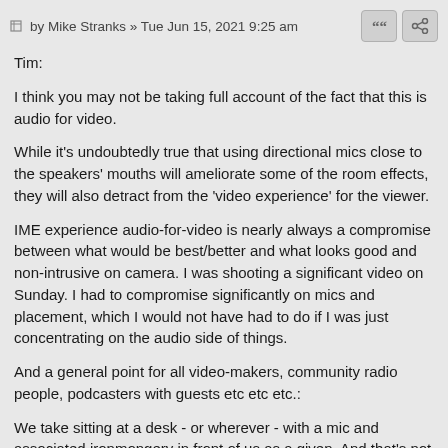by Mike Stranks » Tue Jun 15, 2021 9:25 am
Tim:
I think you may not be taking full account of the fact that this is audio for video.
While it's undoubtedly true that using directional mics close to the speakers' mouths will ameliorate some of the room effects, they will also detract from the 'video experience' for the viewer.
IME experience audio-for-video is nearly always a compromise between what would be best/better and what looks good and non-intrusive on camera. I was shooting a significant video on Sunday. I had to compromise significantly on mics and placement, which I would not have had to do if I was just concentrating on the audio side of things.
And a general point for all video-makers, community radio people, podcasters with guests etc etc etc.:
We take sitting at a desk - or wherever - with a mic and associated ironmongery in front of us as a given. And that's not to mention all the other gubbins often associated with capturing sound. To the average